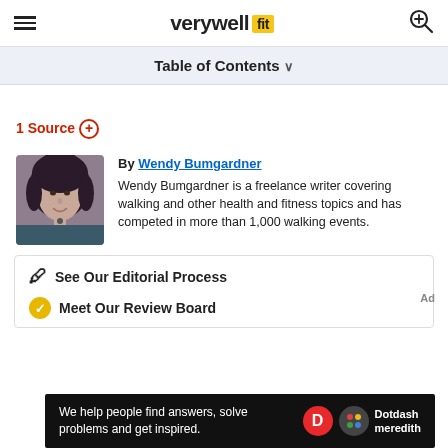verywell fit
Table of Contents
1 Source +
[Figure (photo): Headshot photo of Wendy Bumgardner, a woman with dark hair]
By Wendy Bumgardner
Wendy Bumgardner is a freelance writer covering walking and other health and fitness topics and has competed in more than 1,000 walking events.
See Our Editorial Process
Meet Our Review Board
We help people find answers, solve problems and get inspired. Dotdash meredith